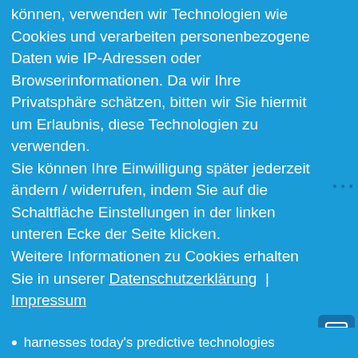können, verwenden wir Technologien wie Cookies und verarbeiten personenbezogene Daten wie IP-Adressen oder Browserinformationen. Da wir Ihre Privatsphäre schätzen, bitten wir Sie hiermit um Erlaubnis, diese Technologien zu verwenden.
Sie können Ihre Einwilligung später jederzeit ändern / widerrufen, indem Sie auf die Schaltfläche Einstellungen in der linken unteren Ecke der Seite klicken.
Weitere Informationen zu Cookies erhalten Sie in unserer Datenschutzerklärung | Impressum
Cookies ablehnen
Cookies zulassen
harnesses today's predictive technologies